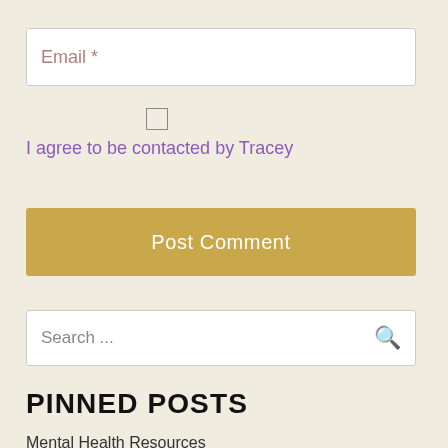Email *
I agree to be contacted by Tracey
Post Comment
Search ...
Pinned Posts
Mental Health Resources